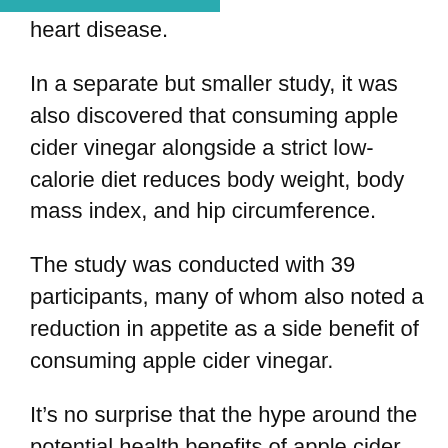heart disease.
In a separate but smaller study, it was also discovered that consuming apple cider vinegar alongside a strict low-calorie diet reduces body weight, body mass index, and hip circumference.
The study was conducted with 39 participants, many of whom also noted a reduction in appetite as a side benefit of consuming apple cider vinegar.
It’s no surprise that the hype around the potential health benefits of apple cider vinegar has spurred what is called the apple cider diet. It